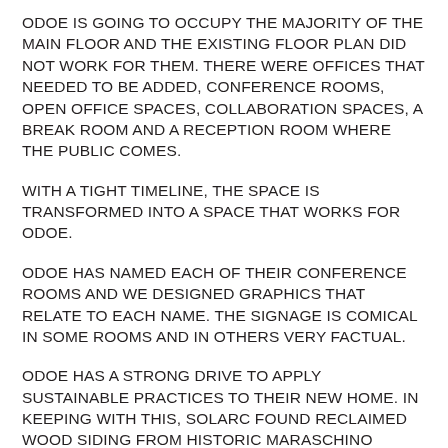ODOE IS GOING TO OCCUPY THE MAJORITY OF THE MAIN FLOOR AND THE EXISTING FLOOR PLAN DID NOT WORK FOR THEM. THERE WERE OFFICES THAT NEEDED TO BE ADDED, CONFERENCE ROOMS, OPEN OFFICE SPACES, COLLABORATION SPACES, A BREAK ROOM AND A RECEPTION ROOM WHERE THE PUBLIC COMES.
WITH A TIGHT TIMELINE, THE SPACE IS TRANSFORMED INTO A SPACE THAT WORKS FOR ODOE.
ODOE HAS NAMED EACH OF THEIR CONFERENCE ROOMS AND WE DESIGNED GRAPHICS THAT RELATE TO EACH NAME. THE SIGNAGE IS COMICAL IN SOME ROOMS AND IN OTHERS VERY FACTUAL.
ODOE HAS A STRONG DRIVE TO APPLY SUSTAINABLE PRACTICES TO THEIR NEW HOME. IN KEEPING WITH THIS, SOLARC FOUND RECLAIMED WOOD SIDING FROM HISTORIC MARASCHINO CHERRY VATS IN SALEM AND WILL USE THIS IN VARIOUS ASPECTS OF THE PROJECT. THIS PRODUCT WILL BECOME FEATURE WALLS, BUILT IN BENCHES AND WOOD SCREENS IN THE OPEN OFFICE AREAS. OTHER MATERIALS THAT WERE RECLAIMED HAVE BEEN USED TO CONSTRUCT THEIR MAIN CONFERENCE